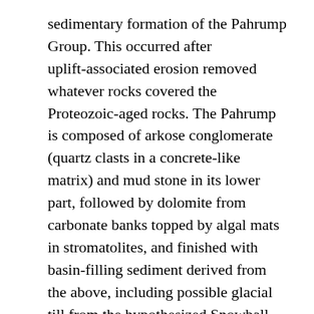sedimentary formation of the Pahrump Group. This occurred after uplift-associated erosion removed whatever rocks covered the Proteozoic-aged rocks. The Pahrump is composed of arkose conglomerate (quartz clasts in a concrete-like matrix) and mud stone in its lower part, followed by dolomite from carbonate banks topped by algal mats in stromatolites, and finished with basin-filling sediment derived from the above, including possible glacial till from the hypothesized Snowball Earth glaciation.[22] The very youngest rocks in the Pahrump Group are from basaltic lava flows.
A rift opened and subsequently flooded the